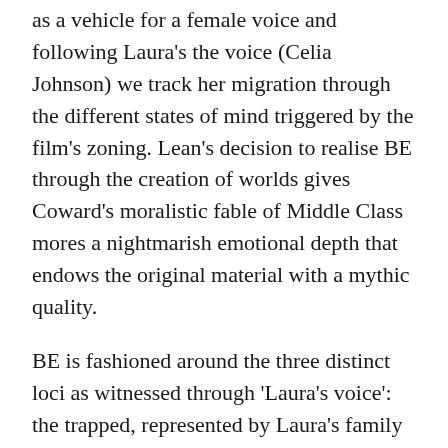as a vehicle for a female voice and following Laura's the voice (Celia Johnson) we track her migration through the different states of mind triggered by the film's zoning. Lean's decision to realise BE through the creation of worlds gives Coward's moralistic fable of Middle Class mores a nightmarish emotional depth that endows the original material with a mythic quality.
BE is fashioned around the three distinct loci as witnessed through 'Laura's voice': the trapped, represented by Laura's family home; the station which is the transitional dream zone; and the town/country locations, hallucinatory spaces, Arcadia, where Laura and Alec are together, and like spirits released from Hades, allowed a short respite from their doom.
The heart of the film is the railway station. A conceptual area realised in the creation of a number of different